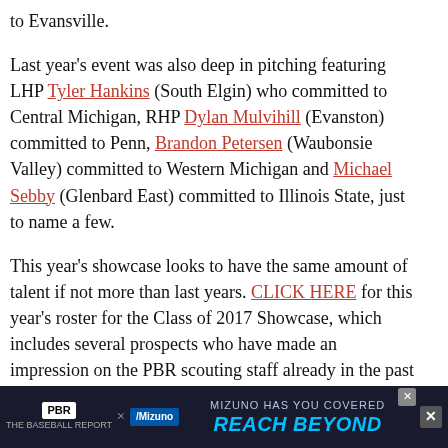to Evansville.
Last year's event was also deep in pitching featuring LHP Tyler Hankins (South Elgin) who committed to Central Michigan, RHP Dylan Mulvihill (Evanston) committed to Penn, Brandon Petersen (Waubonsie Valley) committed to Western Michigan and Michael Sebby (Glenbard East) committed to Illinois State, just to name a few.
This year's showcase looks to have the same amount of talent if not more than last years. CLICK HERE for this year's roster for the Class of 2017 Showcase, which includes several prospects who have made an impression on the PBR scouting staff already in the past year.
RHP Austin Marozas (Plainfield South), OF Mike Addante (Jacobs) and INF/OF Easton Bertrand (Mar... e of Illin...
[Figure (infographic): PBR x Mizuno advertisement banner: 'MIZUNO HAS YOU COVERED / REACH BEYOND']